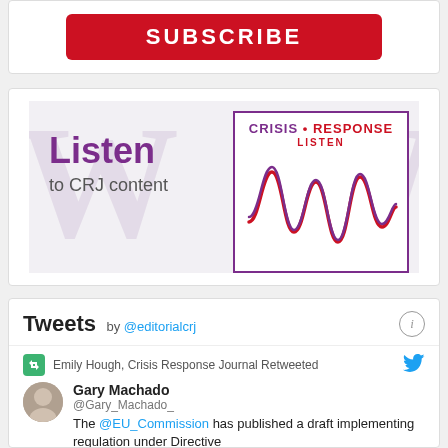[Figure (other): Red SUBSCRIBE button]
[Figure (other): Listen to CRJ content banner with Crisis Response Journal logo and audio waveform graphic]
Tweets by @editorialcrj
Emily Hough, Crisis Response Journal Retweeted
Gary Machado
@Gary_Machado_
The @EU_Commission has published a draft implementing regulation under Directive